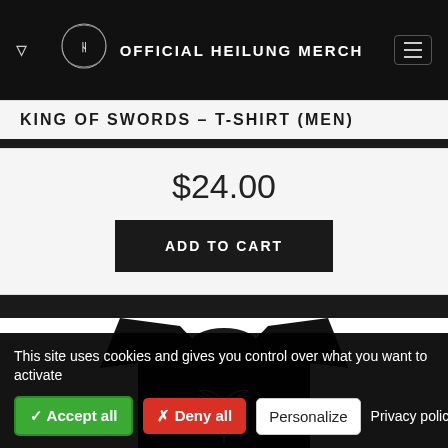OFFICIAL HEILUNG MERCH
KING OF SWORDS – T-SHIRT (MEN)
$24.00
ADD TO CART
[Figure (photo): Black crew-neck t-shirt with a white Heilung antler logo printed on the chest, shown from the front on a white background.]
This site uses cookies and gives you control over what you want to activate
✓ Accept all
✗ Deny all
Personalize
Privacy policy